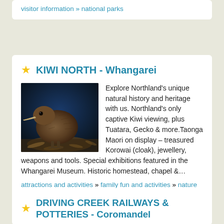visitor information » national parks
★ KIWI NORTH - Whangarei
[Figure (photo): A brown kiwi bird standing on leaf litter, photographed in dim lighting against a dark blue background.]
Explore Northland's unique natural history and heritage with us. Northland's only captive Kiwi viewing, plus Tuatara, Gecko & more.Taonga Maori on display – treasured Korowai (cloak), jewellery, weapons and tools. Special exhibitions featured in the Whangarei Museum. Historic homestead, chapel &…
attractions and activities » family fun and activities » nature and wildlife fun
★ DRIVING CREEK RAILWAYS & POTTERIES - Coromandel